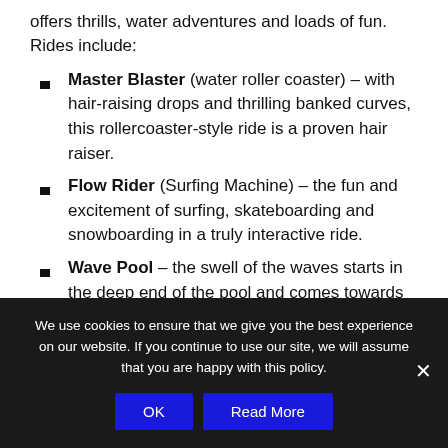offers thrills, water adventures and loads of fun. Rides include:
Master Blaster (water roller coaster) – with hair-raising drops and thrilling banked curves, this rollercoaster-style ride is a proven hair raiser.
Flow Rider (Surfing Machine) – the fun and excitement of surfing, skateboarding and snowboarding in a truly interactive ride.
Wave Pool – the swell of the waves starts in the deep end of the pool and comes towards you, lifting you up. Just like in the ocean, as the waves get closer to the shore, they reduce in size and gradually wash up on the centre shoreline.
We use cookies to ensure that we give you the best experience on our website. If you continue to use our site, we will assume that you are happy with this policy.